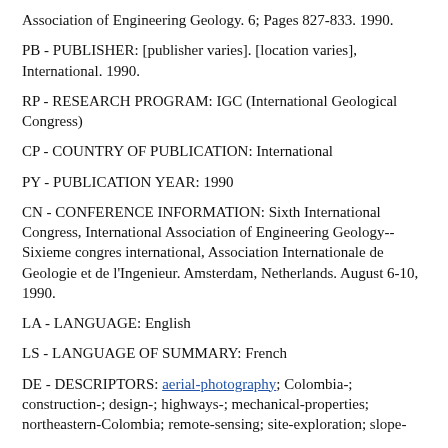Association of Engineering Geology. 6; Pages 827-833. 1990.
PB - PUBLISHER: [publisher varies]. [location varies], International. 1990.
RP - RESEARCH PROGRAM: IGC (International Geological Congress)
CP - COUNTRY OF PUBLICATION: International
PY - PUBLICATION YEAR: 1990
CN - CONFERENCE INFORMATION: Sixth International Congress, International Association of Engineering Geology--Sixieme congres international, Association Internationale de Geologie et de l'Ingenieur. Amsterdam, Netherlands. August 6-10, 1990.
LA - LANGUAGE: English
LS - LANGUAGE OF SUMMARY: French
DE - DESCRIPTORS: aerial-photography; Colombia-; construction-; design-; highways-; mechanical-properties; northeastern-Colombia; remote-sensing; site-exploration; slope-